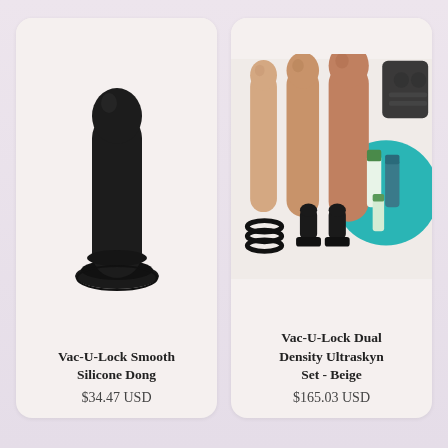[Figure (photo): Black silicone dildo with suction cup base on white background]
Vac-U-Lock Smooth Silicone Dong
$34.47 USD
[Figure (photo): Vac-U-Lock Dual Density Ultraskyn Set in Beige - multiple dildos, rings, plugs, and accessories on light background]
Vac-U-Lock Dual Density Ultraskyn Set - Beige
$165.03 USD